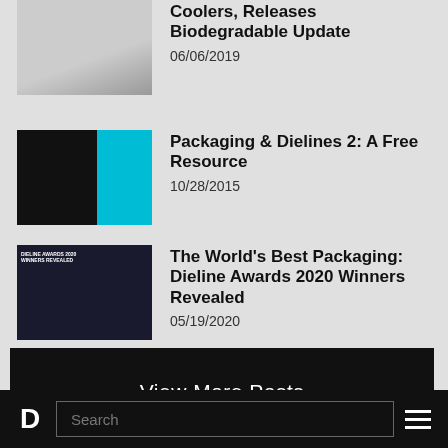Coolers, Releases Biodegradable Update
06/06/2019
Packaging & Dielines 2: A Free Resource
10/28/2015
The World's Best Packaging: Dieline Awards 2020 Winners Revealed
05/19/2020
View More Posts
D  Search  ☰